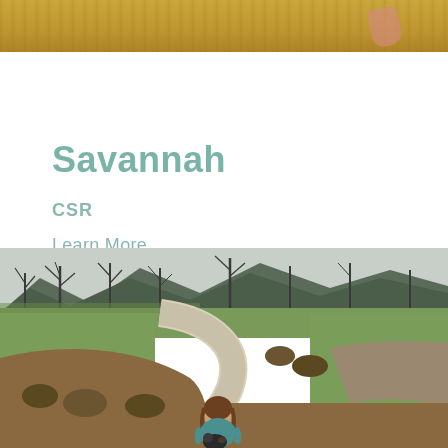[Figure (photo): Top cropped photo showing golden/yellow hay or straw ground with a partial view of a hand/arm, warm brown tones]
Savannah
CSR
Learn More
[Figure (photo): Outdoor park scene with a winding concrete path through green grass and mulched planting beds, bare winter trees and mountains in background, a young woman in a teal shirt crouching and holding a small dog in the foreground]